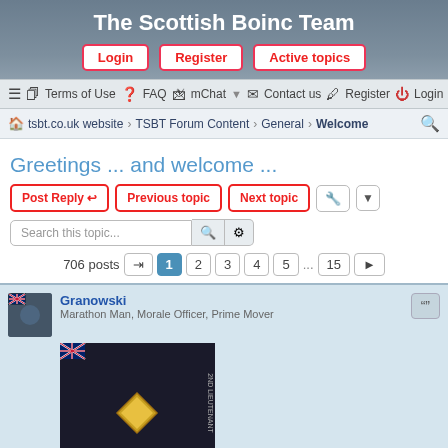The Scottish Boinc Team
Login | Register | Active topics
≡  Terms of Use  ? FAQ  mChat ▾  Contact us  Register  Login
tsbt.co.uk website › TSBT Forum Content › General › Welcome
Greetings ... and welcome ...
Post Reply  Previous topic  Next topic
Search this topic...
706 posts  1  2  3  4  5  ...  15  ▶
Granowski
Marathon Man, Morale Officer, Prime Mover
[Figure (photo): Avatar image showing a military rank badge (2nd Lieutenant) on dark background with UK flag]
#1 Greetings ... and welcome ...
Wed Aug 21, 2019 3:43 pm
Greetings. I joined BOINC on 19/VII/2009 ... I am a Member ... of Polish ...